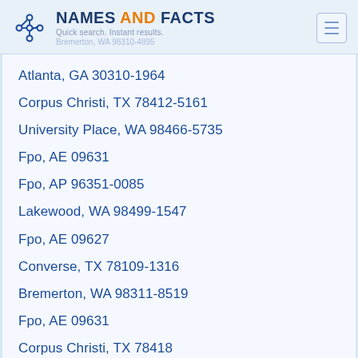NAMES AND FACTS — Quick search. Instant results. Bremerton, WA 98310-4895
Atlanta, GA 30310-1964
Corpus Christi, TX 78412-5161
University Place, WA 98466-5735
Fpo, AE 09631
Fpo, AP 96351-0085
Lakewood, WA 98499-1547
Fpo, AE 09627
Converse, TX 78109-1316
Bremerton, WA 98311-8519
Fpo, AE 09631
Corpus Christi, TX 78418
Corpus Christi, TX 78411